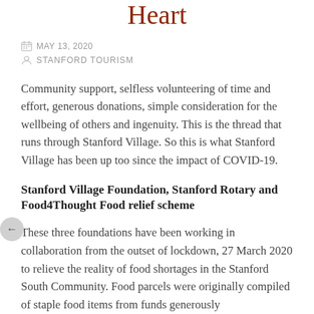Heart
MAY 13, 2020
STANFORD TOURISM
Community support, selfless volunteering of time and effort, generous donations, simple consideration for the wellbeing of others and ingenuity. This is the thread that runs through Stanford Village. So this is what Stanford Village has been up too since the impact of COVID-19.
Stanford Village Foundation, Stanford Rotary and Food4Thought Food relief scheme
These three foundations have been working in collaboration from the outset of lockdown, 27 March 2020 to relieve the reality of food shortages in the Stanford South Community. Food parcels were originally compiled of staple food items from funds generously